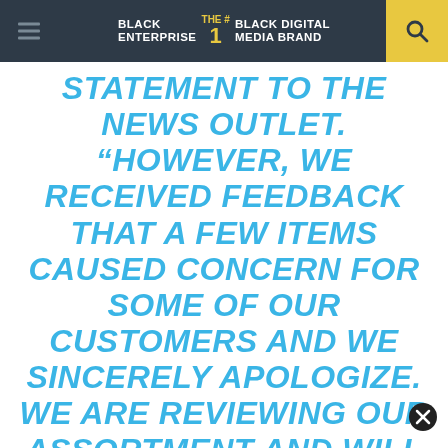BLACK ENTERPRISE — THE #1 BLACK DIGITAL MEDIA BRAND
STATEMENT TO THE NEWS OUTLET. “HOWEVER, WE RECEIVED FEEDBACK THAT A FEW ITEMS CAUSED CONCERN FOR SOME OF OUR CUSTOMERS AND WE SINCERELY APOLOGIZE. WE ARE REVIEWING OUR ASSORTMENT AND WILL REMOVE ITEMS AS APPROPRIATE.”